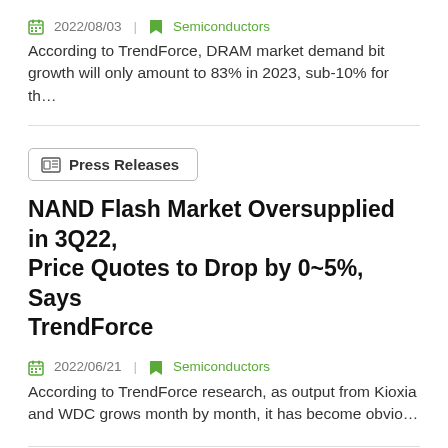2022/08/03 | Semiconductors
According to TrendForce, DRAM market demand bit growth will only amount to 83% in 2023, sub-10% for th…
Press Releases
NAND Flash Market Oversupplied in 3Q22, Price Quotes to Drop by 0~5%, Says TrendForce
2022/06/21 | Semiconductors
According to TrendForce research, as output from Kioxia and WDC grows month by month, it has become obvio…